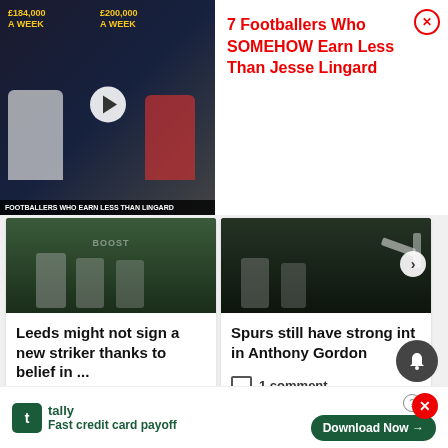[Figure (screenshot): Video thumbnail ad: footballers with salary labels £184,000 A WEEK and £200,000 A WEEK with play button and caption FOOTBALLERS WHO EARN LESS THAN LINGARD]
7 Footballers Who SOMEHOW Earn Less Than Jesse Lingard
[Figure (photo): Football match scene showing players on a green pitch with BOOST branding visible]
Leeds might not sign a new striker thanks to belief in ...
4 comments
[Figure (photo): Football match scene at night showing players on pitch with a fallen goalpost]
Spurs still have strong int in Anthony Gordon
1 comment
ADVERTISEMENT
[Figure (infographic): Red wavy decorative line across the page with a red X close button]
[Figure (logo): Tally app advertisement banner: tally logo, Fast credit card payoff text, Download Now button with question mark and X close]
Download Now →